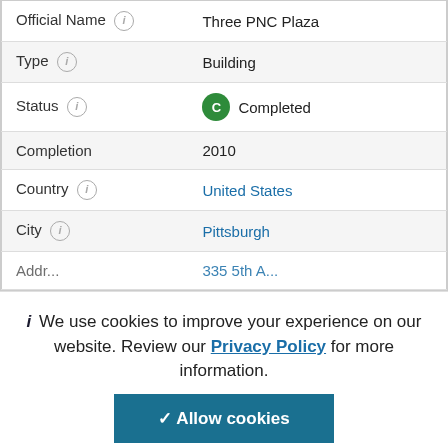| Field | Value |
| --- | --- |
| Official Name | Three PNC Plaza |
| Type | Building |
| Status | Completed |
| Completion | 2010 |
| Country | United States |
| City | Pittsburgh |
| Address | 335 5th A... |
We use cookies to improve your experience on our website. Review our Privacy Policy for more information.
Allow cookies
CONSTRUCTION SCHEDULE